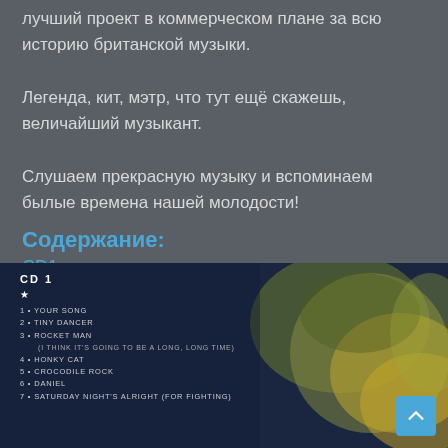лучший проект в коммерческом плане за всю историю британской музыки. Легенда, кит, мэтр, что тут ещё скажешь, величайший музыкант. Слушаем прекрасную музыку и вспоминаем былые времена нашей молодости!
Содержание:
CD1
[Figure (photo): CD tracklist image for CD 1 showing tracks: 1 YOUR SONG, 2 TINY DANCER, 3 ROCKET MAN (I THINK IT'S GOING TO BE A LONG, LONG TIME), 4 HONKY CAT, 5 CROCODILE ROCK, 6 DANIEL, 7 SATURDAY NIGHT'S ALRIGHT (FOR FIGHTING), overlaid on a dark blue and yellow/green watercolor-style background]